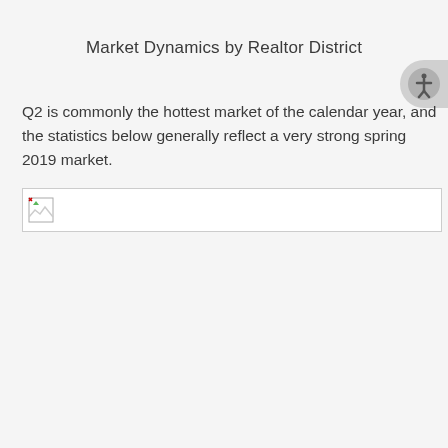Market Dynamics by Realtor District
Q2 is commonly the hottest market of the calendar year, and the statistics below generally reflect a very strong spring 2019 market.
[Figure (other): Broken image placeholder with small broken image icon]